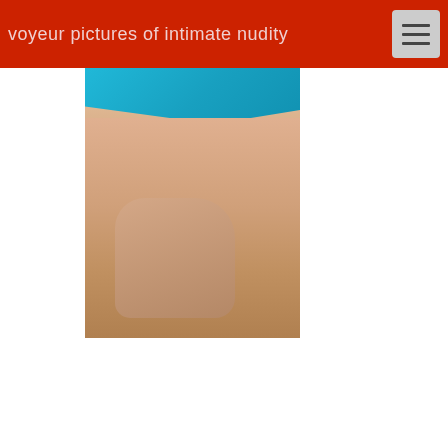voyeur pictures of intimate nudity
[Figure (photo): Close-up photo of a person wearing a teal/turquoise bikini top, torso visible with a hand placed on the lower abdomen area]